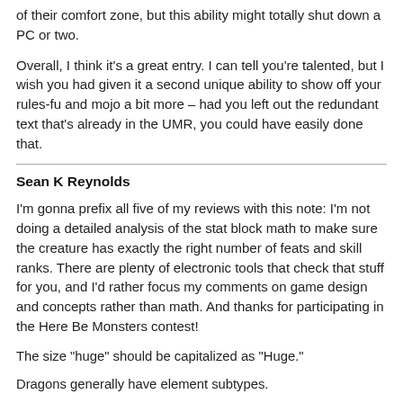of their comfort zone, but this ability might totally shut down a PC or two.
Overall, I think it's a great entry. I can tell you're talented, but I wish you had given it a second unique ability to show off your rules-fu and mojo a bit more – had you left out the redundant text that's already in the UMR, you could have easily done that.
Sean K Reynolds
I'm gonna prefix all five of my reviews with this note: I'm not doing a detailed analysis of the stat block math to make sure the creature has exactly the right number of feats and skill ranks. There are plenty of electronic tools that check that stuff for you, and I'd rather focus my comments on game design and concepts rather than math. And thanks for participating in the Here Be Monsters contest!
The size "huge" should be capitalized as "Huge."
Dragons generally have element subtypes.